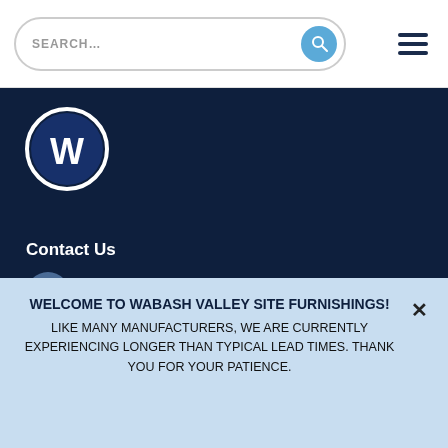SEARCH...
[Figure (logo): Wabash Valley site furnishings 'W' logo in white on dark navy circle with white ring border]
Contact Us
WVMsales@wabashvalley.com
DFW International Commerce Park
WELCOME TO WABASH VALLEY SITE FURNISHINGS! LIKE MANY MANUFACTURERS, WE ARE CURRENTLY EXPERIENCING LONGER THAN TYPICAL LEAD TIMES. THANK YOU FOR YOUR PATIENCE.